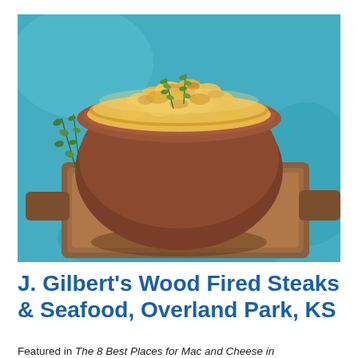[Figure (photo): A ceramic baking dish filled with golden-brown baked macaroni and cheese, garnished with fresh thyme sprigs, sitting on a wooden cutting board against a turquoise/blue background.]
J. Gilbert's Wood Fired Steaks & Seafood, Overland Park, KS
Featured in The 8 Best Places for Mac and Cheese in